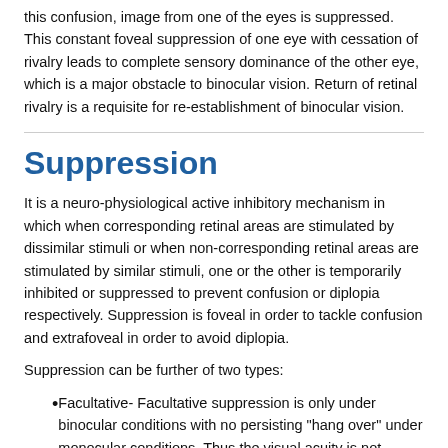this confusion, image from one of the eyes is suppressed. This constant foveal suppression of one eye with cessation of rivalry leads to complete sensory dominance of the other eye, which is a major obstacle to binocular vision. Return of retinal rivalry is a requisite for re-establishment of binocular vision.
Suppression
It is a neuro-physiological active inhibitory mechanism in which when corresponding retinal areas are stimulated by dissimilar stimuli or when non-corresponding retinal areas are stimulated by similar stimuli, one or the other is temporarily inhibited or suppressed to prevent confusion or diplopia respectively. Suppression is foveal in order to tackle confusion and extrafoveal in order to avoid diplopia.
Suppression can be further of two types:
Facultative- Facultative suppression is only under binocular conditions with no persisting "hang over" under monocular conditions. Thus the visual acuity is not reduced under monocular conditions and there